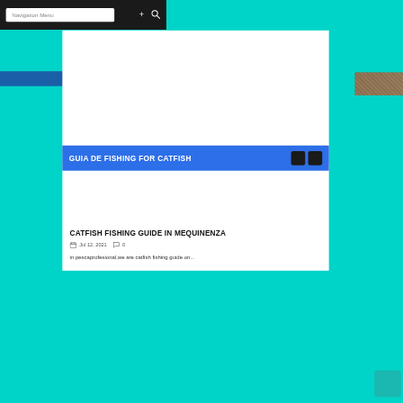Navigation Menu
[Figure (screenshot): White advertisement area placeholder]
GUIA DE FISHING FOR CATFISH
CATFISH FISHING GUIDE IN MEQUINENZA
Jul 12, 2021  0
in pescaprofesional,we are catfish fishing guide on...